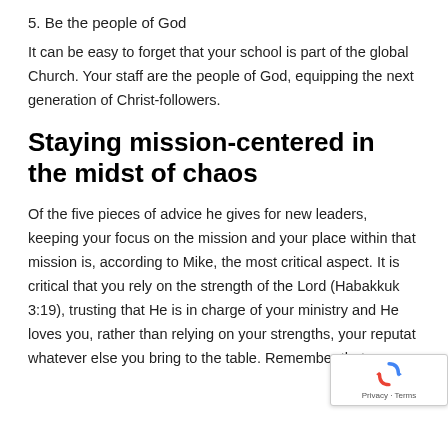5. Be the people of God
It can be easy to forget that your school is part of the global Church. Your staff are the people of God, equipping the next generation of Christ-followers.
Staying mission-centered in the midst of chaos
Of the five pieces of advice he gives for new leaders, keeping your focus on the mission and your place within that mission is, according to Mike, the most critical aspect. It is critical that you rely on the strength of the Lord (Habakkuk 3:19), trusting that He is in charge of your ministry and He loves you, rather than relying on your strengths, your reputation, whatever else you bring to the table. Remember that y...